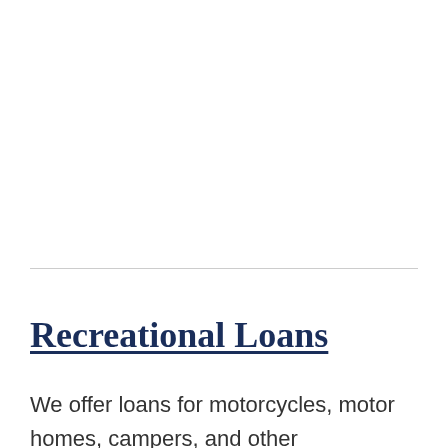Recreational Loans
We offer loans for motorcycles, motor homes, campers, and other recreational